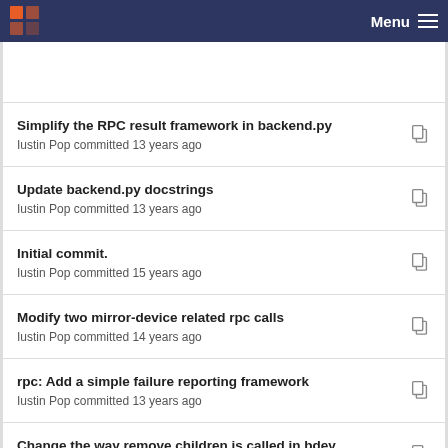Menu
Simplify the RPC result framework in backend.py
Iustin Pop committed 13 years ago
Update backend.py docstrings
Iustin Pop committed 13 years ago
Initial commit.
Iustin Pop committed 15 years ago
Modify two mirror-device related rpc calls
Iustin Pop committed 14 years ago
rpc: Add a simple failure reporting framework
Iustin Pop committed 13 years ago
Change the way remove children is called in bdev
Iustin Pop committed 14 years ago